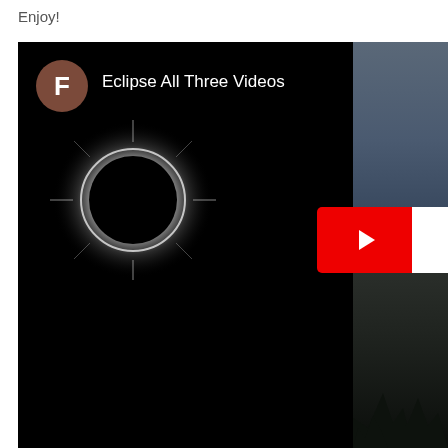Enjoy!
[Figure (screenshot): Screenshot of a YouTube playlist or video page showing 'Eclipse All Three Videos'. The main thumbnail shows a total solar eclipse (corona visible around dark moon disc) against a black night sky. A brown avatar circle with letter 'F' is in the top-left. To the right is a partially visible second video thumbnail showing a twilight sky with trees, and a YouTube play button in red.]